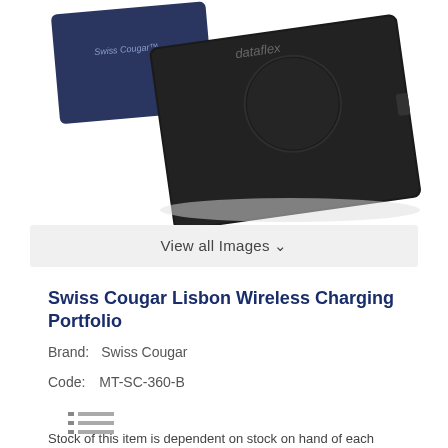[Figure (photo): Product photo showing Swiss Cougar Lisbon Wireless Charging Portfolio (black leather portfolio with circular wireless charging pad on cover) alongside its dark blue product box with 'Swiss Cougar' branding, and 'dataflex' text visible on the portfolio. White background.]
View all Images ∨
Swiss Cougar Lisbon Wireless Charging Portfolio
Brand:  Swiss Cougar
Code:   MT-SC-360-B
[Figure (other): Small list/bullet icon with three horizontal lines]
Stock of this item is dependent on stock on hand of each